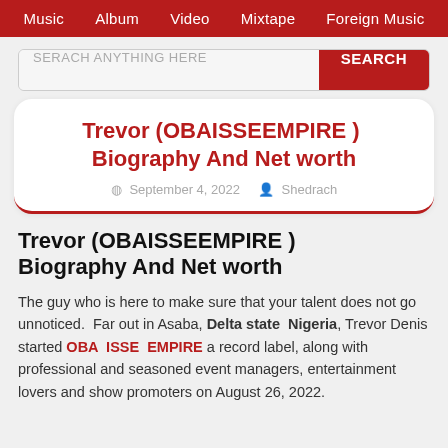Music  Album  Video  Mixtape  Foreign Music
SERACH ANYTHING HERE   SEARCH
Trevor (OBAISSEEMPIRE ) Biography And Net worth
September 4, 2022   Shedrach
Trevor (OBAISSEEMPIRE ) Biography And Net worth
The guy who is here to make sure that your talent does not go unnoticed.  Far out in Asaba, Delta state Nigeria, Trevor Denis started OBA ISSE EMPIRE a record label, along with professional and seasoned event managers, entertainment lovers and show promoters on August 26, 2022.